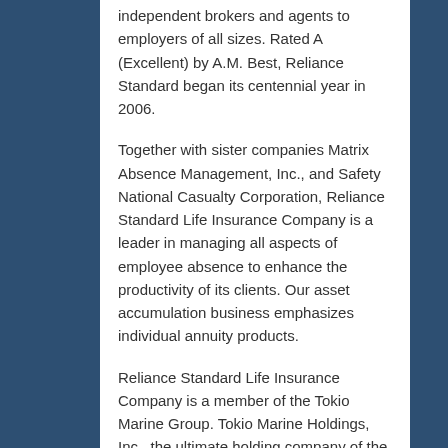independent brokers and agents to employers of all sizes. Rated A (Excellent) by A.M. Best, Reliance Standard began its centennial year in 2006.
Together with sister companies Matrix Absence Management, Inc., and Safety National Casualty Corporation, Reliance Standard Life Insurance Company is a leader in managing all aspects of employee absence to enhance the productivity of its clients. Our asset accumulation business emphasizes individual annuity products.
Reliance Standard Life Insurance Company is a member of the Tokio Marine Group. Tokio Marine Holdings, Inc., the ultimate holding company of the Tokio Marine Group, is incorporated in Japan and is listed on both the Tokyo and Osaka Stock Exchanges.